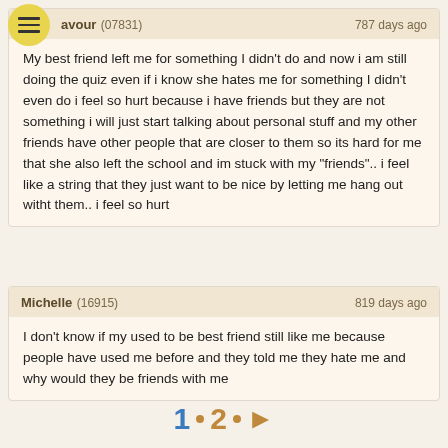avour (07831) 787 days ago — My best friend left me for something I didn't do and now i am still doing the quiz even if i know she hates me for something I didn't even do i feel so hurt because i have friends but they are not something i will just start talking about personal stuff and my other friends have other people that are closer to them so its hard for me that she also left the school and im stuck with my “friends”.. i feel like a string that they just want to be nice by letting me hang out witht them.. i feel so hurt
Michelle (16915) 819 days ago — I don't know if my used to be best friend still like me because people have used me before and they told me they hate me and why would they be friends with me
1 • 2 • ►